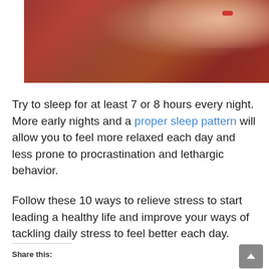[Figure (photo): A woman lying down sleeping on a dark red/burgundy fabric surface, seen from above, with red lips visible]
Try to sleep for at least 7 or 8 hours every night. More early nights and a proper sleep pattern will allow you to feel more relaxed each day and less prone to procrastination and lethargic behavior.
Follow these 10 ways to relieve stress to start leading a healthy life and improve your ways of tackling daily stress to feel better each day.
Share this: